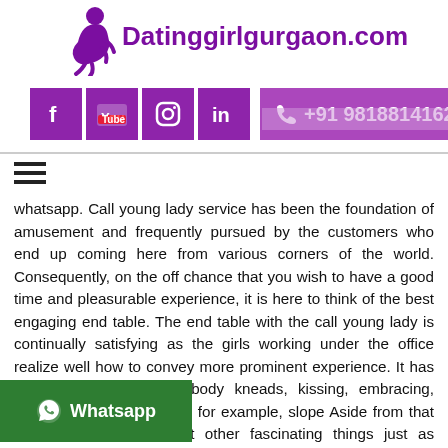Datinggirlgurgaon.com | +91 9818814162
whatsapp. Call young lady service has been the foundation of amusement and frequently pursued by the customers who end up coming here from various corners of the world. Consequently, on the off chance that you wish to have a good time and pleasurable experience, it is here to think of the best engaging end table. The end table with the call young lady is continually satisfying as the girls working under the office realize well how to convey more prominent experience. It has been exotic and warm body kneads, kissing, embracing, visiting to a nishing spots, for example, slope Aside from that they can obtain different other fascinating things just as exercises.